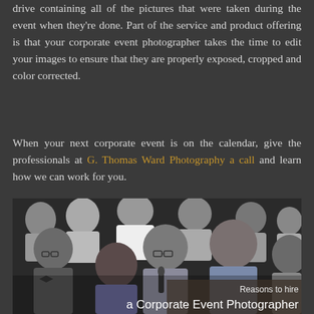drive containing all of the pictures that were taken during the event when they're done. Part of the service and product offering is that your corporate event photographer takes the time to edit your images to ensure that they are properly exposed, cropped and color corrected.
When your next corporate event is on the calendar, give the professionals at G. Thomas Ward Photography a call and learn how we can work for you.
[Figure (photo): Black and white photograph of a crowd of people at a corporate event, several in the foreground with serious expressions, one person holding a microphone. Overlay caption reads 'Reasons to hire a Corporate Event Photographer'.]
Reasons to hire a Corporate Event Photographer